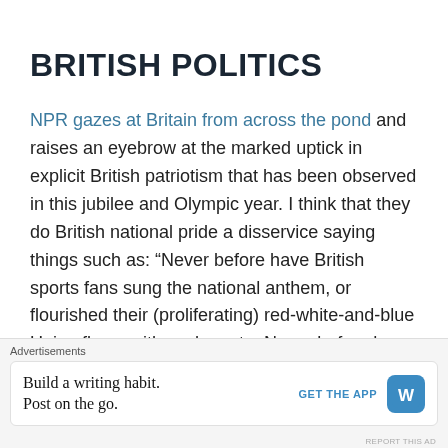BRITISH POLITICS
NPR gazes at Britain from across the pond and raises an eyebrow at the marked uptick in explicit British patriotism that has been observed in this jubilee and Olympic year. I think that they do British national pride a disservice saying things such as: “Never before have British sports fans sung the national anthem, or flourished their (proliferating) red-white-and-blue Union flags, with such gusto. Never before have British
Advertisements
Build a writing habit. Post on the go.
GET THE APP